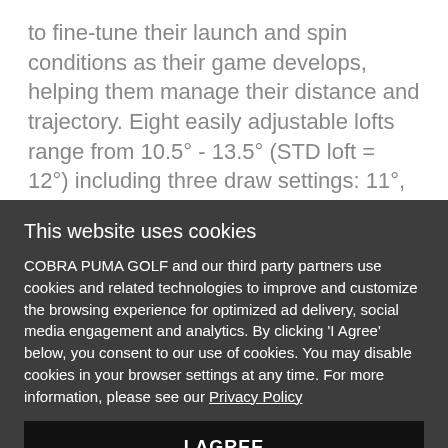to fine-tune their launch and spin conditions as their game develops, helping them manage their distance and trajectory. Eight easily adjustable lofts range from 10.5° - 13.5° (STD loft = 12°) including three draw settings: 11°, 12°, 13°.
This website uses cookies
COBRA PUMA GOLF and our third party partners use cookies and related technologies to improve and customize the browsing experience for optimized ad delivery, social media engagement and analytics. By clicking 'I Agree' below, you consent to our use of cookies. You may disable cookies in your browser settings at any time. For more information, please see our Privacy Policy
I AGREE